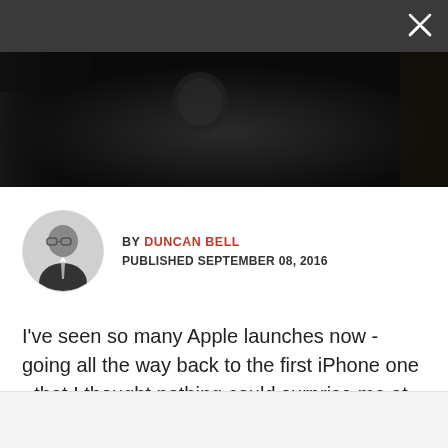[Figure (photo): Dark header bar with close/expand icon in top-right corner]
[Figure (photo): Hero image showing a black iPhone with Apple logo visible, dark background]
BY DUNCAN BELL
PUBLISHED SEPTEMBER 08, 2016
I've seen so many Apple launches now - going all the way back to the first iPhone one - that I thought nothing could surprise me at one of the World's Biggest Brand's iPhone events.